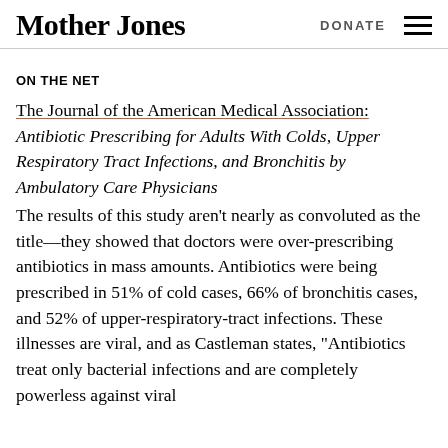Mother Jones   DONATE
ON THE NET
The Journal of the American Medical Association: Antibiotic Prescribing for Adults With Colds, Upper Respiratory Tract Infections, and Bronchitis by Ambulatory Care Physicians The results of this study aren't nearly as convoluted as the title—they showed that doctors were over-prescribing antibiotics in mass amounts. Antibiotics were being prescribed in 51% of cold cases, 66% of bronchitis cases, and 52% of upper-respiratory-tract infections. These illnesses are viral, and as Castleman states, "Antibiotics treat only bacterial infections and are completely powerless against viral